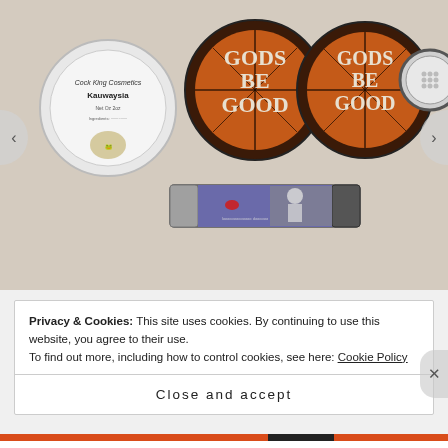[Figure (photo): Photograph of cosmetic products on a beige surface: a white round tin labeled 'Cock King Cosmetics Kauwaysia', two round tins labeled 'Gods Be Good' with a cracked orange/brown design, one clear round compact, and a lip balm tube with a purple label showing a vintage woman figure.]
Privacy & Cookies: This site uses cookies. By continuing to use this website, you agree to their use.
To find out more, including how to control cookies, see here: Cookie Policy
Close and accept